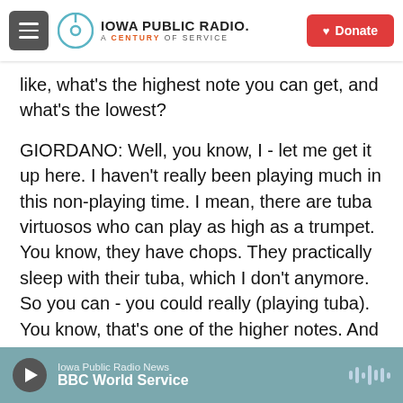Iowa Public Radio. A Century of Service. [Donate button]
like, what's the highest note you can get, and what's the lowest?
GIORDANO: Well, you know, I - let me get it up here. I haven't really been playing much in this non-playing time. I mean, there are tuba virtuosos who can play as high as a trumpet. You know, they have chops. They practically sleep with their tuba, which I don't anymore. So you can - you could really (playing tuba). You know, that's one of the higher notes. And one of the lower notes is like (playing tuba). So you get a big range. I like to keep it where the tuba's supposed to be in its mid-range - (playing
Iowa Public Radio News — BBC World Service